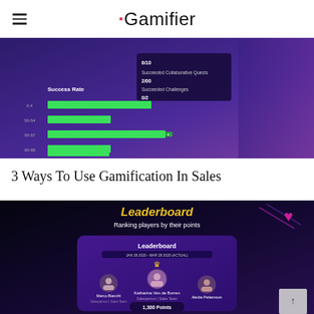Gamifier
[Figure (screenshot): Gamifier dashboard screenshot showing a Success Rate horizontal bar chart with green bars on a dark purple background, with a tooltip overlay showing collaborative quests and challenges data (6/10, 2/00, 0/2)]
3 Ways To Use Gamification In Sales
[Figure (screenshot): Gamifier Leaderboard screenshot on dark background with text 'Ranking players by their points', showing a leaderboard UI with Katharina Van de Burren in first place with crown icon, Marco Bianchi in second, Aledia Pettersson in third, and '1,300 Points' displayed. Yellow/gold decorative elements visible.]